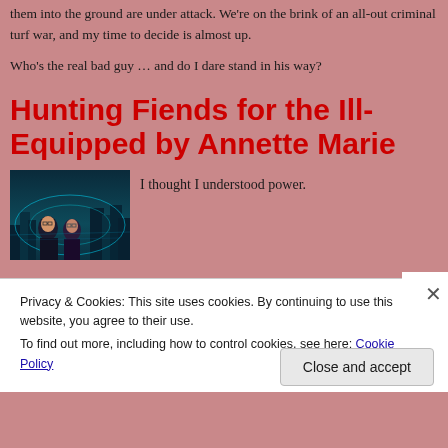them into the ground are under attack. We're on the brink of an all-out criminal turf war, and my time to decide is almost up.
Who's the real bad guy … and do I dare stand in his way?
Hunting Fiends for the Ill-Equipped by Annette Marie
[Figure (illustration): Book cover showing two figures (a male and a female with glasses) against a sci-fi cityscape background with teal/blue tones]
I thought I understood power.
Privacy & Cookies: This site uses cookies. By continuing to use this website, you agree to their use.
To find out more, including how to control cookies, see here: Cookie Policy
Close and accept